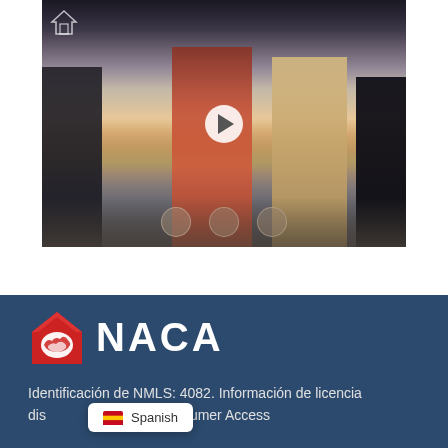[Figure (photo): Group of people standing together at what appears to be an event or ceremony, photographed from mid-body down showing clothing and feet. Play button overlay visible in center. Small house icon in top-left corner of image. Navigation dots at bottom.]
[Figure (logo): NACA logo: red house icon with handshake symbol, followed by bold white text 'NACA' on dark navy blue background]
Identificación de NMLS: 4082. Información de licencia dis[ponible en NM]LS Consumer Access
Spanish